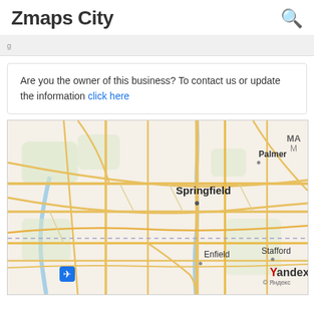Zmaps City
Are you the owner of this business? To contact us or update the information click here
[Figure (map): Yandex map showing Springfield area with Palmer to the northeast, Enfield to the south, and Stafford to the southeast. Roads shown in yellow/orange on a light beige background. Airport icon visible near bottom left. Yandex logo and copyright in bottom right corner.]